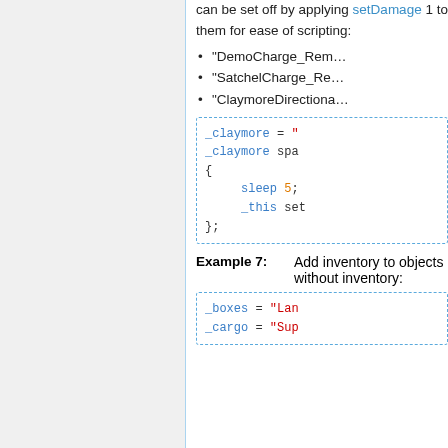can be set off by applying setDamage 1 to them for ease of scripting:
"DemoCharge_Rem...
"SatchelCharge_Re...
"ClaymoreDirectiona...
[Figure (screenshot): Code block showing _claymore = " ..., _claymore spa ..., { sleep 5; _this set }; ]
Example 7: Add inventory to objects without inventory:
[Figure (screenshot): Code block showing _boxes = "Lan ..., _cargo = "Sup ...]